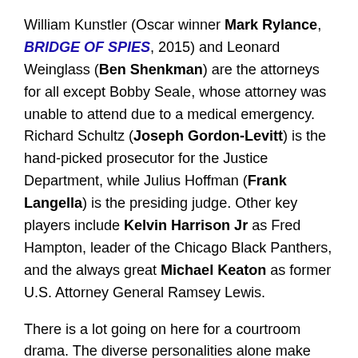William Kunstler (Oscar winner Mark Rylance, BRIDGE OF SPIES, 2015) and Leonard Weinglass (Ben Shenkman) are the attorneys for all except Bobby Seale, whose attorney was unable to attend due to a medical emergency. Richard Schultz (Joseph Gordon-Levitt) is the hand-picked prosecutor for the Justice Department, while Julius Hoffman (Frank Langella) is the presiding judge. Other key players include Kelvin Harrison Jr as Fred Hampton, leader of the Chicago Black Panthers, and the always great Michael Keaton as former U.S. Attorney General Ramsey Lewis.
There is a lot going on here for a courtroom drama. The diverse personalities alone make this a must watch. Flashbacks to the violence and the interactions between police and protesters are mixed in between testimonies.